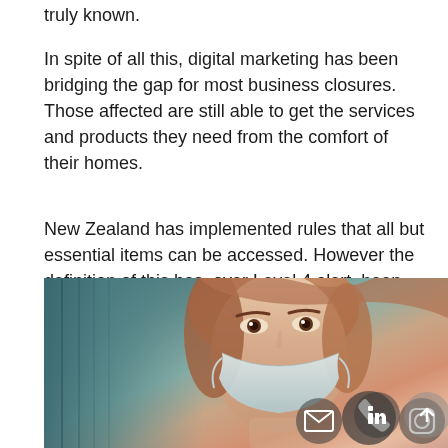truly known.
In spite of all this, digital marketing has been bridging the gap for most business closures. Those affected are still able to get the services and products they need from the comfort of their homes.
New Zealand has implemented rules that all but essential items can be accessed. However the definition of this has, over Level 4 alert, been clarified with retailers being able to sell fridges, freezers and heaters.  At the end of this lockdown, we will all hopefully be going into Level 2 or 3 which will enable all businesses to take advantage of the change in habits COVID-19 will have exacerbated.
[Figure (photo): A woman wearing a face mask, with reddish-brown hair, looking slightly upward. Social media/contact icons (email, phone, Instagram, LinkedIn, up arrow) are overlaid at the bottom of the image.]